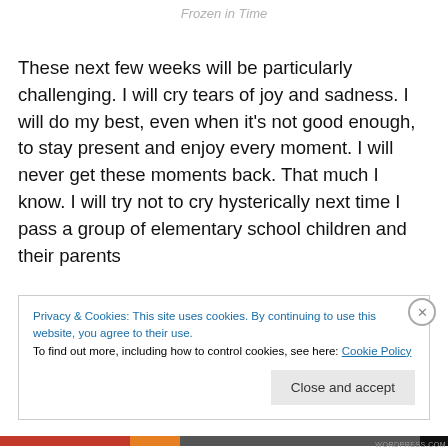Frozen in Time
These next few weeks will be particularly challenging. I will cry tears of joy and sadness. I will do my best, even when it's not good enough, to stay present and enjoy every moment. I will never get these moments back. That much I know. I will try not to cry hysterically next time I pass a group of elementary school children and their parents
Privacy & Cookies: This site uses cookies. By continuing to use this website, you agree to their use.
To find out more, including how to control cookies, see here: Cookie Policy
Close and accept